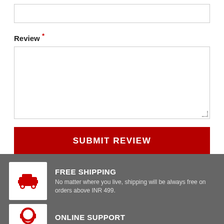Review *
SUBMIT REVIEW
FREE SHIPPING
No matter where you live, shipping will be always free on orders above INR 499.
ONLINE SUPPORT